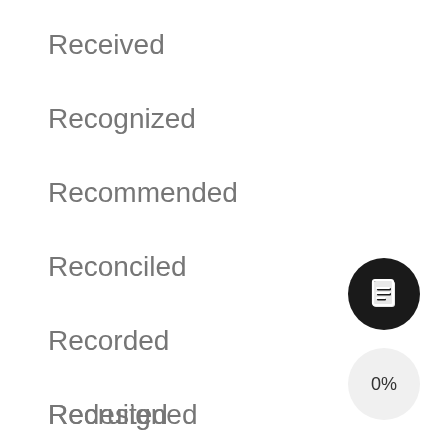Received
Recognized
Recommended
Reconciled
Recorded
Recruited
Redesigned
[Figure (illustration): Black circle button with a document/list icon (white lines on black background)]
[Figure (illustration): Light gray circle button showing '0%' text]